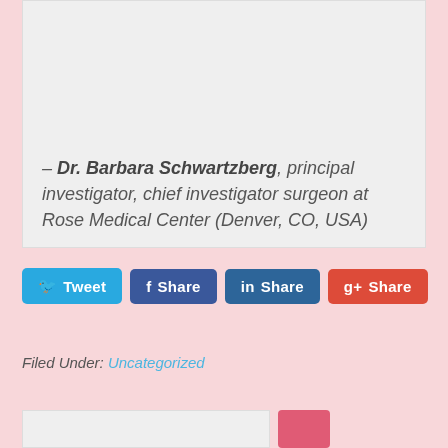– Dr. Barbara Schwartzberg, principal investigator, chief investigator surgeon at Rose Medical Center (Denver, CO, USA)
[Figure (other): Social sharing buttons: Tweet (Twitter), Share (Facebook), Share (LinkedIn), Share (Google+)]
Filed Under: Uncategorized